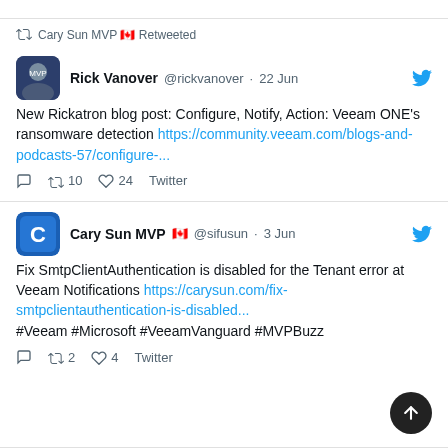[Figure (screenshot): Twitter/social media feed screenshot showing two tweets. First tweet: Rick Vanover @rickvanover retweeted by Cary Sun MVP, dated 22 Jun, about a new Rickatron blog post on Veeam ONE ransomware detection. Second tweet: Cary Sun MVP @sifusun, dated 3 Jun, about fixing SmtpClientAuthentication disabled error at Veeam Notifications.]